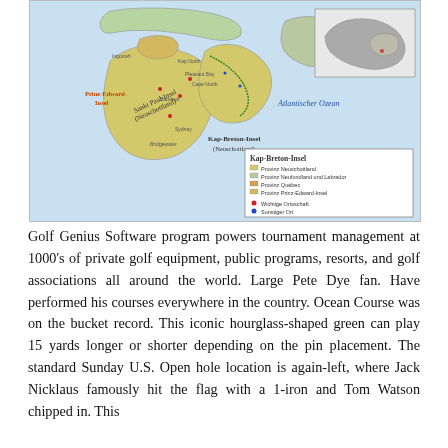[Figure (map): A map showing Cape Breton Island (Kap-Breton-Insel / Neuschottland) and surrounding Canadian maritime provinces including Prince Edward Island, Nova Scotia, Newfoundland and Labrador, and Quebec, with legend showing provincial colors, major cities, and scale bar. Atlantic Ocean (Atlantischer Ozean) labeled. Inset map of North America in top right corner.]
Golf Genius Software program powers tournament management at 1000's of private golf equipment, public programs, resorts, and golf associations all around the world. Large Pete Dye fan. Have performed his courses everywhere in the country. Ocean Course was on the bucket record. This iconic hourglass-shaped green can play 15 yards longer or shorter depending on the pin placement. The standard Sunday U.S. Open hole location is again-left, where Jack Nicklaus famously hit the flag with a 1-iron and Tom Watson chipped in. This